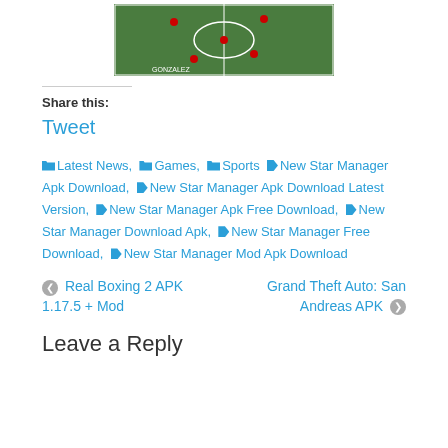[Figure (screenshot): Soccer/football game screenshot showing a green pitch with player positions marked]
Share this:
Tweet
Latest News, Games, Sports New Star Manager Apk Download, New Star Manager Apk Download Latest Version, New Star Manager Apk Free Download, New Star Manager Download Apk, New Star Manager Free Download, New Star Manager Mod Apk Download
Real Boxing 2 APK 1.17.5 + Mod
Grand Theft Auto: San Andreas APK
Leave a Reply